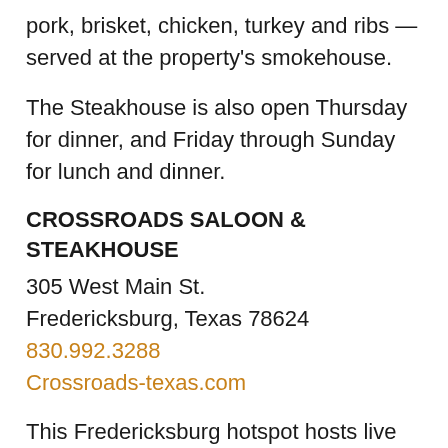pork, brisket, chicken, turkey and ribs — served at the property's smokehouse.
The Steakhouse is also open Thursday for dinner, and Friday through Sunday for lunch and dinner.
CROSSROADS SALOON & STEAKHOUSE
305 West Main St.
Fredericksburg, Texas 78624
830.992.3288
Crossroads-texas.com
This Fredericksburg hotspot hosts live music Thursday through Sunday nights, but if you're a steak lover the best time to go is Wednesday, Thursday or Sunday. That's when the steak special is offered: For $20, get either a 6-ounce